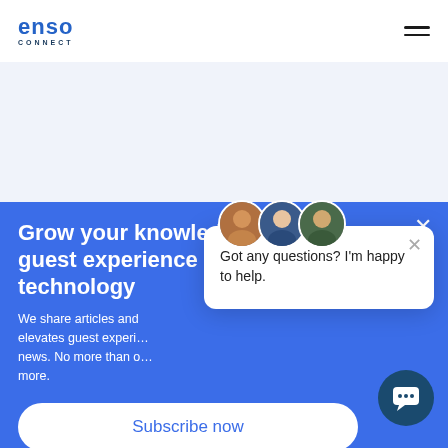[Figure (logo): Enso Connect logo — 'enso' in blue bold lowercase with 'CONNECT' in small caps below]
[Figure (illustration): Hamburger menu icon (three horizontal lines) in top right corner]
[Figure (illustration): Light blue/grey hero area background (empty)]
Grow your knowledge: guest experience and technology
We share articles and elevates guest experience news. No more than once more.
[Figure (screenshot): Chat popup widget showing three avatar photos and text 'Got any questions? I'm happy to help.' with an X close button]
[Figure (illustration): Subscribe now button — white pill-shaped button with blue text on blue background]
[Figure (illustration): Dark teal circular chat bubble button in bottom right corner]